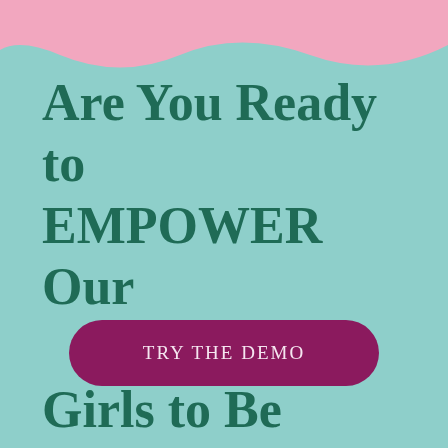Are You Ready to EMPOWER Our Girls to Be THEIR BEST?
TRY THE DEMO